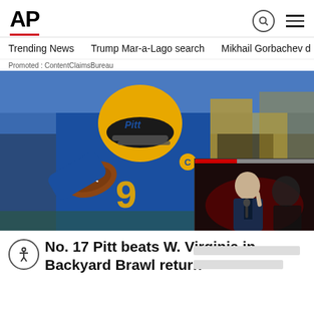AP
Trending News   Trump Mar-a-Lago search   Mikhail Gorbachev d
Promoted : ContentClaimsBureau
[Figure (photo): Pitt quarterback in blue uniform number 9 with gold helmet throwing a football, crowd in background]
[Figure (photo): Small overlay video thumbnail showing a man in a suit speaking at a podium with a red progress bar at top]
No. 17 Pitt beats W. Virginia in Backyard Brawl return